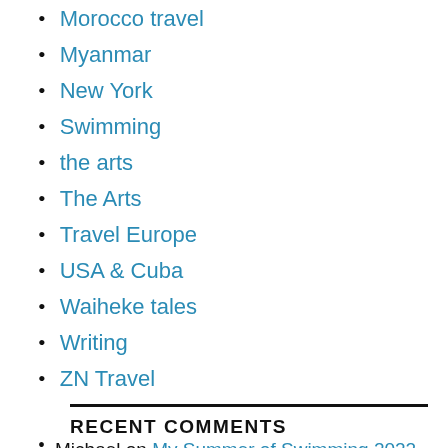Morocco travel
Myanmar
New York
Swimming
the arts
The Arts
Travel Europe
USA & Cuba
Waiheke tales
Writing
ZN Travel
RECENT COMMENTS
Michael on My Summer of Swimming 2022